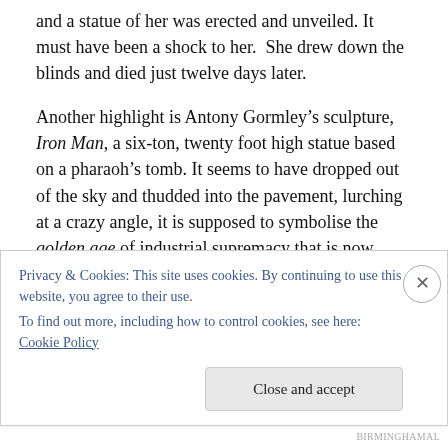and a statue of her was erected and unveiled. It must have been a shock to her.  She drew down the blinds and died just twelve days later.
Another highlight is Antony Gormley’s sculpture, Iron Man, a six-ton, twenty foot high statue based on a pharaoh’s tomb. It seems to have dropped out of the sky and thudded into the pavement, lurching at a crazy angle, it is supposed to symbolise the golden age of industrial supremacy that is now rusting away.  Not everyone likes it, not all local people appreciate it and, there were rumours
Privacy & Cookies: This site uses cookies. By continuing to use this website, you agree to their use.
To find out more, including how to control cookies, see here: Cookie Policy